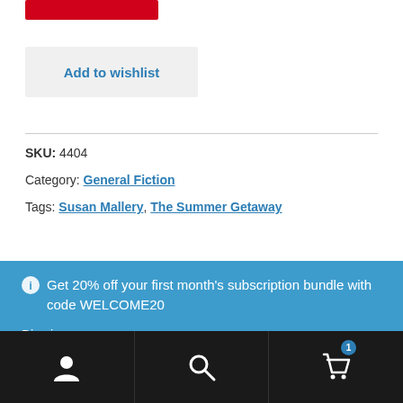[Figure (other): Red button (add to cart or similar) at top]
Add to wishlist
SKU: 4404
Category: General Fiction
Tags: Susan Mallery, The Summer Getaway
Get 20% off your first month's subscription bundle with code WELCOME20
Dismiss
[Figure (screenshot): Bottom navigation bar with user icon, search icon, and cart icon with badge showing 1]